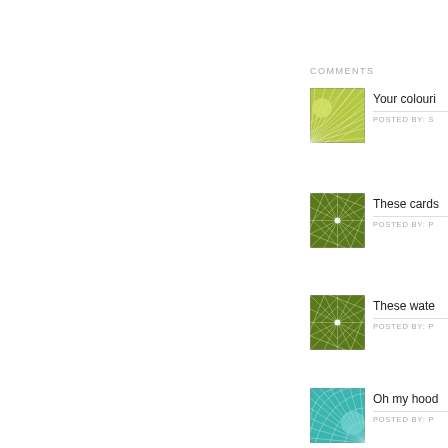COMMENTS
[Figure (illustration): Yellow-green radial/web pattern thumbnail with a circle in one corner]
Your colouri
POSTED BY: S
[Figure (illustration): Dark green geometric diamond/web pattern thumbnail with central star]
These cards
POSTED BY: P
[Figure (illustration): Dark green geometric diamond/web pattern thumbnail with central star]
These wate
POSTED BY: P
[Figure (illustration): Teal/cyan radial web pattern thumbnail with circle]
Oh my hood
POSTED BY: P
[Figure (illustration): Teal/cyan radial web pattern thumbnail with circle]
Goodness,
POSTED BY: